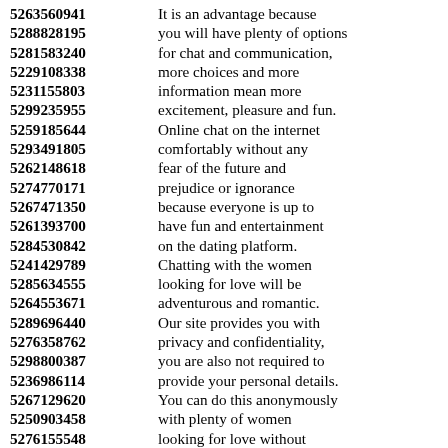5263560941  It is an advantage because
5288828195  you will have plenty of options
5281583240  for chat and communication,
5229108338  more choices and more
5231155803  information mean more
5299235955  excitement, pleasure and fun.
5259185644  Online chat on the internet
5293491805  comfortably without any
5262148618  fear of the future and
5274770171  prejudice or ignorance
5267471350  because everyone is up to
5261393700  have fun and entertainment
5284530842  on the dating platform.
5241429789  Chatting with the women
5285634555  looking for love will be
5264553671  adventurous and romantic.
5289696440  Our site provides you with
5276358762  privacy and confidentiality,
5298800387  you are also not required to
5236986114  provide your personal details.
5267129620  You can do this anonymously
5250903458  with plenty of women
5276155548  looking for love without
5278614789  any fear and enjoy the
5220720328  opportunity to choose your own
5242773752  because you are assured of